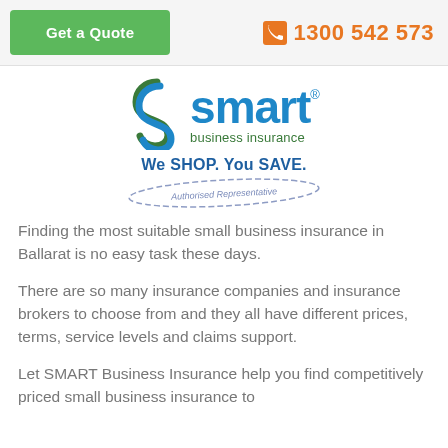[Figure (logo): Get a Quote green button and Smart Business Insurance logo with phone number 1300 542 573]
Finding the most suitable small business insurance in Ballarat is no easy task these days.
There are so many insurance companies and insurance brokers to choose from and they all have different prices, terms, service levels and claims support.
Let SMART Business Insurance help you find competitively priced small business insurance to